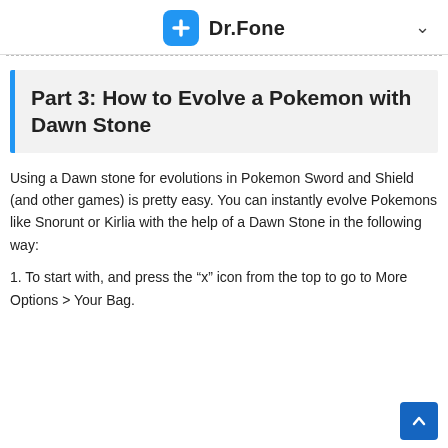Dr.Fone
Part 3: How to Evolve a Pokemon with Dawn Stone
Using a Dawn stone for evolutions in Pokemon Sword and Shield (and other games) is pretty easy. You can instantly evolve Pokemons like Snorunt or Kirlia with the help of a Dawn Stone in the following way:
1. To start with, and press the “x” icon from the top to go to More Options > Your Bag.